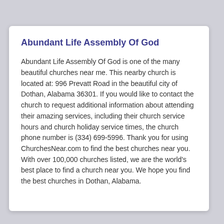Abundant Life Assembly Of God
Abundant Life Assembly Of God is one of the many beautiful churches near me. This nearby church is located at: 996 Prevatt Road in the beautiful city of Dothan, Alabama 36301. If you would like to contact the church to request additional information about attending their amazing services, including their church service hours and church holiday service times, the church phone number is (334) 699-5996. Thank you for using ChurchesNear.com to find the best churches near you. With over 100,000 churches listed, we are the world's best place to find a church near you. We hope you find the best churches in Dothan, Alabama.